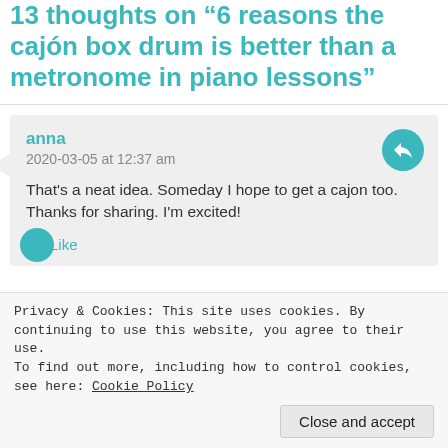13 thoughts on “6 reasons the cajón box drum is better than a metronome in piano lessons”
anna
2020-03-05 at 12:37 am

That’s a neat idea. Someday I hope to get a cajon too. Thanks for sharing. I’m excited!

★ Like
Privacy & Cookies: This site uses cookies. By continuing to use this website, you agree to their use.
To find out more, including how to control cookies, see here: Cookie Policy
Close and accept
one, too, because it adds a truly creative